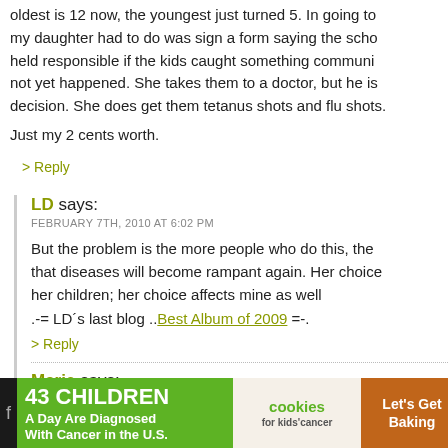oldest is 12 now, the youngest just turned 5. In going to my daughter had to do was sign a form saying the school held responsible if the kids caught something communi not yet happened. She takes them to a doctor, but he is decision. She does get them tetanus shots and flu shots.
Just my 2 cents worth.
> Reply
LD says: FEBRUARY 7TH, 2010 AT 6:02 PM
But the problem is the more people who do this, the that diseases will become rampant again. Her choice her children; her choice affects mine as well .-= LD´s last blog ..Best Album of 2009 =-.
> Reply
Marie says: FEBRUARY 8TH, 2010 AT 7:27 PM
[Figure (other): Advertisement banner: 43 Children A Day Are Diagnosed With Cancer in the U.S. - cookies for kids' cancer - Let's Get Baking]